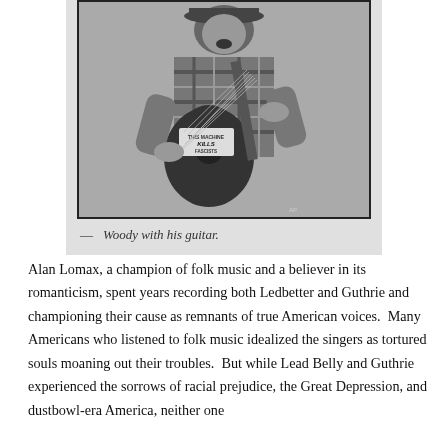[Figure (photo): Black and white photograph of Woody Guthrie playing an acoustic guitar with a label on it reading 'This Machine Kills Fascists', wearing a plaid shirt and a hat, mouth open as if singing.]
— Woody with his guitar.
Alan Lomax, a champion of folk music and a believer in its romanticism, spent years recording both Ledbetter and Guthrie and championing their cause as remnants of true American voices.  Many Americans who listened to folk music idealized the singers as tortured souls moaning out their troubles.  But while Lead Belly and Guthrie experienced the sorrows of racial prejudice, the Great Depression, and dustbowl-era America, neither one